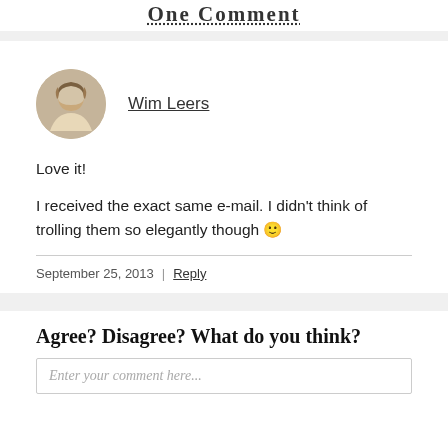One Comment
[Figure (photo): Circular avatar photo of Wim Leers, a person with long hair]
Wim Leers
Love it!
I received the exact same e-mail. I didn't think of trolling them so elegantly though 🙂
September 25, 2013 | Reply
Agree? Disagree? What do you think?
Enter your comment here...